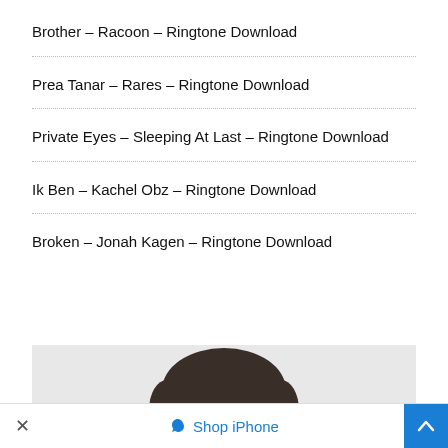Brother – Racoon – Ringtone Download
Prea Tanar – Rares – Ringtone Download
Private Eyes – Sleeping At Last – Ringtone Download
Ik Ben – Kachel Obz – Ringtone Download
Broken – Jonah Kagen – Ringtone Download
[Figure (photo): Partial photo of a man's face with dark hair, smiling, against a light gray background]
× Shop iPhone ▲